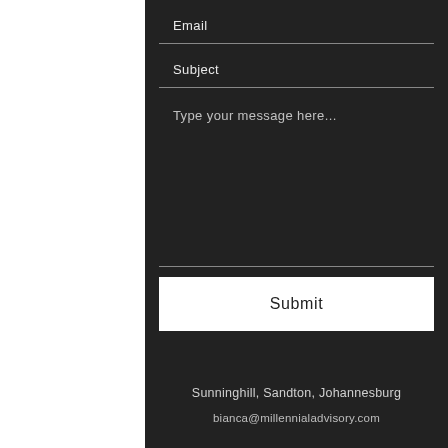Email
Subject
Type your message here...
Submit
Sunninghill, Sandton, Johannesburg
bianca@millennialadvisory.com